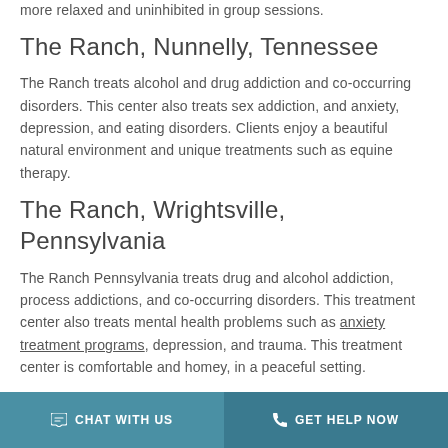more relaxed and uninhibited in group sessions.
The Ranch, Nunnelly, Tennessee
The Ranch treats alcohol and drug addiction and co-occurring disorders. This center also treats sex addiction, and anxiety, depression, and eating disorders. Clients enjoy a beautiful natural environment and unique treatments such as equine therapy.
The Ranch, Wrightsville, Pennsylvania
The Ranch Pennsylvania treats drug and alcohol addiction, process addictions, and co-occurring disorders. This treatment center also treats mental health problems such as anxiety treatment programs, depression, and trauma. This treatment center is comfortable and homey, in a peaceful setting.
CHAT WITH US   GET HELP NOW